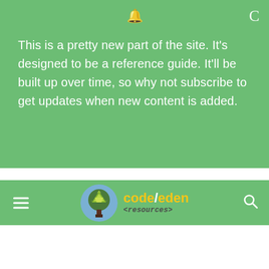This is a pretty new part of the site. It's designed to be a reference guide. It'll be built up over time, so why not subscribe to get updates when new content is added.
[Figure (logo): code/eden <resources> logo with circular tree icon and text]